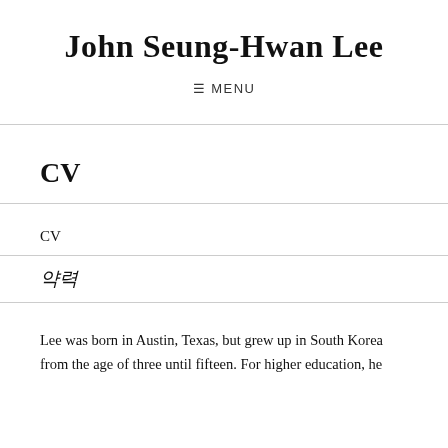John Seung-Hwan Lee
☰ MENU
CV
| CV |
| 약력 |
Lee was born in Austin, Texas, but grew up in South Korea from the age of three until fifteen. For higher education, he